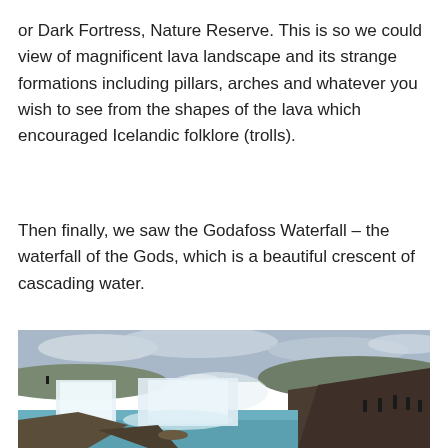or Dark Fortress, Nature Reserve. This is so we could view of magnificent lava landscape and its strange formations including pillars, arches and whatever you wish to see from the shapes of the lava which encouraged Icelandic folklore (trolls).
Then finally, we saw the Godafoss Waterfall – the waterfall of the Gods, which is a beautiful crescent of cascading water.
[Figure (photo): Photograph of the Godafoss Waterfall in Iceland, showing a wide crescent-shaped waterfall cascading into a glacial blue-green river. Rocky cliffs are visible on the right with tourists standing on the edge. Overcast sky with dramatic clouds and hills in the background.]